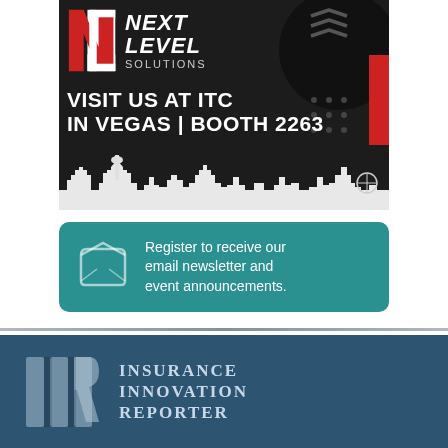[Figure (illustration): Next Level Solutions advertisement: dark background with NL logo, red accent block, chevrons, text 'VISIT US AT ITC IN VEGAS | BOOTH 2263', Las Vegas skyline silhouette at bottom]
[Figure (infographic): Teal rounded rectangle banner with envelope icon and text 'Register to receive our email newsletter and event announcements.']
[Figure (logo): Insurance Innovation Reporter logo: IIR monogram in light gray on dark teal/navy background, with 'Insurance Innovation Reporter' text in serif font]